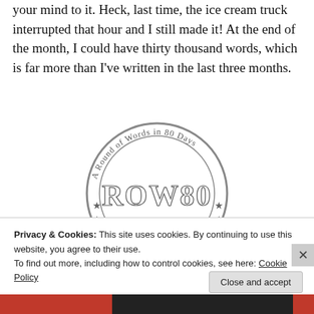your mind to it. Heck, last time, the ice cream truck interrupted that hour and I still made it! At the end of the month, I could have thirty thousand words, which is far more than I've written in the last three months.
[Figure (logo): Circular stamp/badge logo for 'A Round of Words in 80 Days' (ROW80) with the text arranged in an arc around a central emblem showing 'ROW80' in bold serif letters, rendered in a gray stamp style.]
Privacy & Cookies: This site uses cookies. By continuing to use this website, you agree to their use.
To find out more, including how to control cookies, see here: Cookie Policy